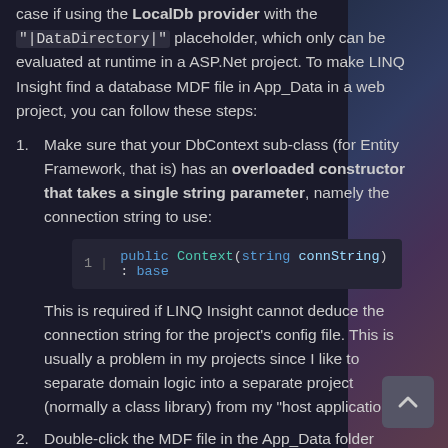case if using the LocalDb provider with the "|DataDirectory|" placeholder, which only can be evaluated at runtime in a ASP.Net project. To make LINQ Insight find a database MDF file in App_Data in a web project, you can follow these steps:
1. Make sure that your DbContext sub-class (for Entity Framework, that is) has an overloaded constructor that takes a single string parameter, namely the connection string to use:
public Context(string connString) : base
This is required if LINQ Insight cannot deduce the connection string for the project’s config file. This is usually a problem in my projects since I like to separate domain logic into a separate project (normally a class library) from my “host application”.
2. Double-click the MDF file in the App_Data folder